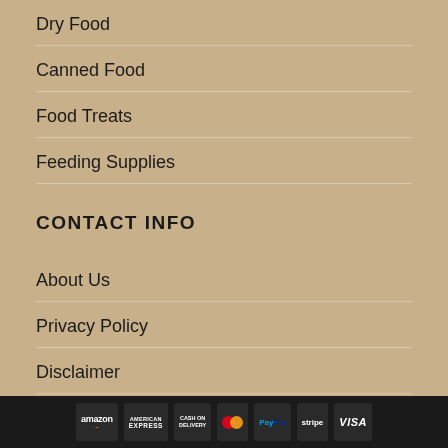Dry Food
Canned Food
Food Treats
Feeding Supplies
CONTACT INFO
About Us
Privacy Policy
Disclaimer
Contact Us
[Figure (other): Footer payment icons: amazon, American Express, Cash on Delivery, MasterCard, PayPal, stripe, VISA]